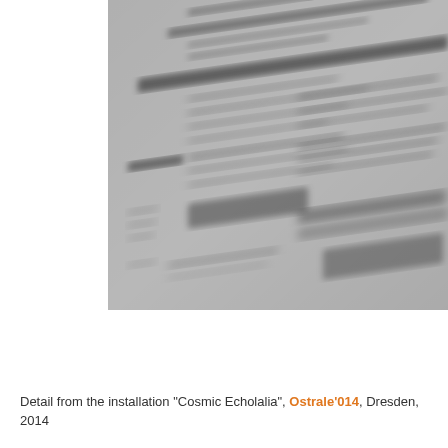[Figure (photo): A blurred/out-of-focus photograph showing a close-up detail of a printed document or installation text panel, tilted at an angle. The text is illegible due to blur and perspective distortion. The document appears to have multiple columns with headings and body text on a light grey background.]
Detail from the installation "Cosmic Echolalia", Ostrale'014, Dresden, 2014